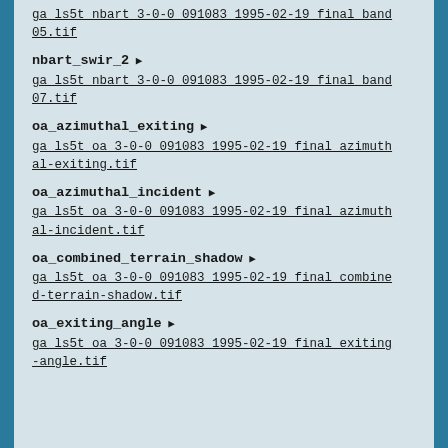ga_ls5t_nbart_3-0-0_091083_1995-02-19_final_band05.tif
nbart_swir_2 ▶
ga_ls5t_nbart_3-0-0_091083_1995-02-19_final_band07.tif
oa_azimuthal_exiting ▶
ga_ls5t_oa_3-0-0_091083_1995-02-19_final_azimuthal-exiting.tif
oa_azimuthal_incident ▶
ga_ls5t_oa_3-0-0_091083_1995-02-19_final_azimuthal-incident.tif
oa_combined_terrain_shadow ▶
ga_ls5t_oa_3-0-0_091083_1995-02-19_final_combined-terrain-shadow.tif
oa_exiting_angle ▶
ga_ls5t_oa_3-0-0_091083_1995-02-19_final_exiting-angle.tif